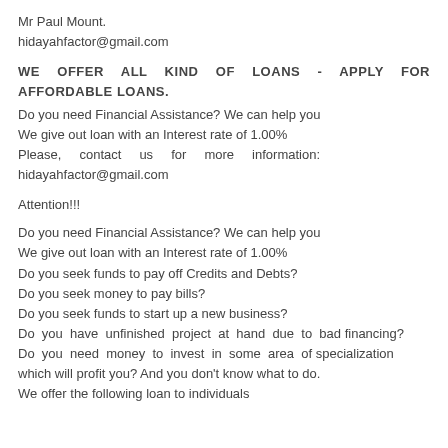Mr Paul Mount.
hidayahfactor@gmail.com
WE OFFER ALL KIND OF LOANS - APPLY FOR AFFORDABLE LOANS.
Do you need Financial Assistance? We can help you
We give out loan with an Interest rate of 1.00%
Please, contact us for more information: hidayahfactor@gmail.com
Attention!!!
Do you need Financial Assistance? We can help you
We give out loan with an Interest rate of 1.00%
Do you seek funds to pay off Credits and Debts?
Do you seek money to pay bills?
Do you seek funds to start up a new business?
Do you have unfinished project at hand due to bad financing?
Do you need money to invest in some area of specialization
which will profit you? And you don't know what to do.
We offer the following loan to individuals